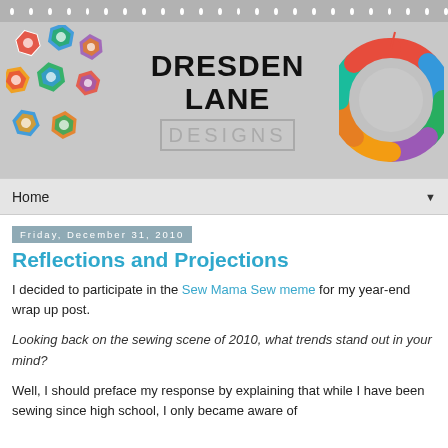[Figure (logo): Dresden Lane Designs blog header banner with colorful fabric flower/star shapes on left, large bold text DRESDEN LANE DESIGNS in center, and a colorful wreath on right, all on gray polka-dot background]
Home ▼
Friday, December 31, 2010
Reflections and Projections
I decided to participate in the Sew Mama Sew meme for my year-end wrap up post.
Looking back on the sewing scene of 2010, what trends stand out in your mind?
Well, I should preface my response by explaining that while I have been sewing since high school, I only became aware of